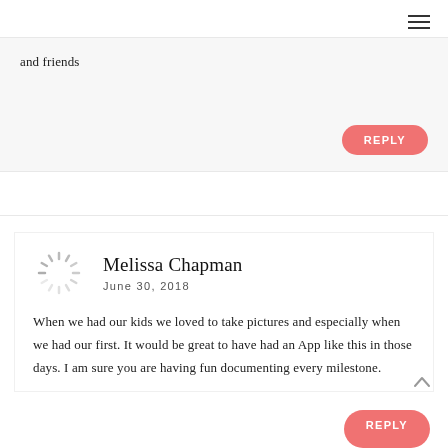≡ (hamburger menu)
and friends
REPLY
Melissa Chapman
June 30, 2018
When we had our kids we loved to take pictures and especially when we had our first. It would be great to have had an App like this in those days. I am sure you are having fun documenting every milestone.